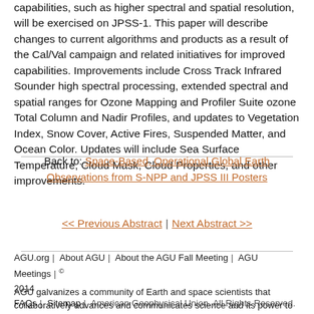capabilities, such as higher spectral and spatial resolution, will be exercised on JPSS-1. This paper will describe changes to current algorithms and products as a result of the Cal/Val campaign and related initiatives for improved capabilities. Improvements include Cross Track Infrared Sounder high spectral processing, extended spectral and spatial ranges for Ozone Mapping and Profiler Suite ozone Total Column and Nadir Profiles, and updates to Vegetation Index, Snow Cover, Active Fires, Suspended Matter, and Ocean Color. Updates will include Sea Surface Temperature, Cloud Mask, Cloud Properties, and other improvements.
Back to: Space-Based, Operational Global Earth Observations from S-NPP and JPSS III Posters
<< Previous Abstract | Next Abstract >>
AGU.org | About AGU | About the AGU Fall Meeting | AGU Meetings | © 2014 FAQs | Sitemap | American Geophysical Union. All Rights Reserved.
AGU galvanizes a community of Earth and space scientists that collaboratively advances and communicates science and its power to ensure a sustainable future.